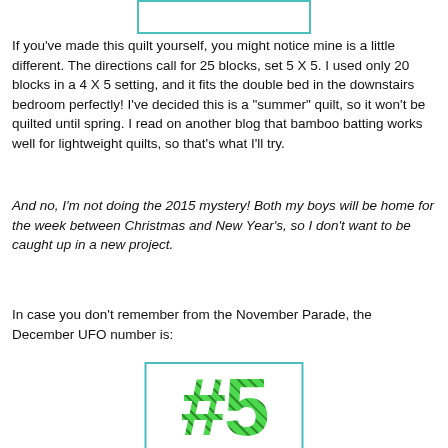[Figure (other): Partial image at top of page inside a teal-bordered box]
If you've made this quilt yourself, you might notice mine is a little different. The directions call for 25 blocks, set 5 X 5. I used only 20 blocks in a 4 X 5 setting, and it fits the double bed in the downstairs bedroom perfectly! I've decided this is a "summer" quilt, so it won't be quilted until spring. I read on another blog that bamboo batting works well for lightweight quilts, so that's what I'll try.
And no, I'm not doing the 2015 mystery! Both my boys will be home for the week between Christmas and New Year's, so I don't want to be caught up in a new project.
In case you don't remember from the November Parade, the December UFO number is:
[Figure (other): Large green #5 text inside a teal-bordered box]